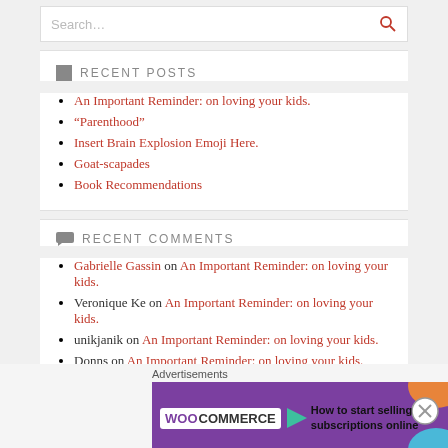[Figure (screenshot): Search bar with placeholder text 'Search...' and a red search icon on the right]
RECENT POSTS
An Important Reminder: on loving your kids.
“Parenthood”
Insert Brain Explosion Emoji Here.
Goat-scapades
Book Recommendations
RECENT COMMENTS
Gabrielle Gassin on An Important Reminder: on loving your kids.
Veronique Ke on An Important Reminder: on loving your kids.
unikjanik on An Important Reminder: on loving your kids.
Donns on An Important Reminder: on loving your kids.
Gabrielle Gassin on “Parenthood”
ARCHIVES
[Figure (screenshot): WooCommerce advertisement banner: 'How to start selling subscriptions online']